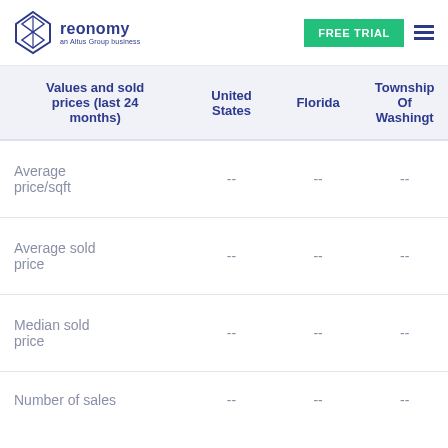reonomy — an Altus Group business | FREE TRIAL
| Values and sold prices (last 24 months) | United States | Florida | Township Of Washingt |
| --- | --- | --- | --- |
| Average price/sqft | -- | -- | -- |
| Average sold price | -- | -- | -- |
| Median sold price | -- | -- | -- |
| Number of sales | -- | -- | -- |